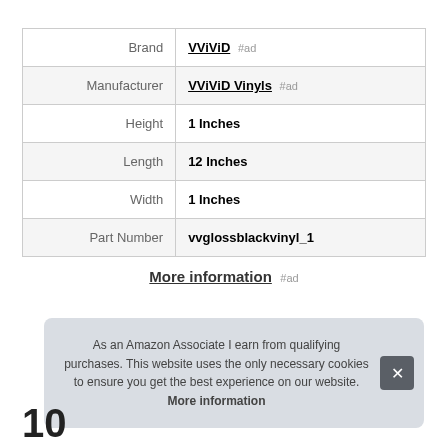|  |  |
| --- | --- |
| Brand | VViViD #ad |
| Manufacturer | VViViD Vinyls #ad |
| Height | 1 Inches |
| Length | 12 Inches |
| Width | 1 Inches |
| Part Number | vvglossblackvinyl_1 |
More information #ad
As an Amazon Associate I earn from qualifying purchases. This website uses the only necessary cookies to ensure you get the best experience on our website. More information
10